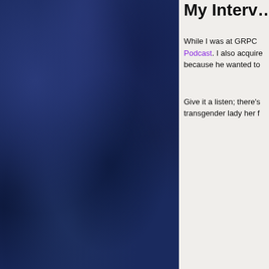[Figure (photo): Dark blue watercolor/painted texture background filling the left portion of the page]
My Interv…
While I was at GRPC Podcast. I also acquire because he wanted to…
Give it a listen; there's transgender lady her f…